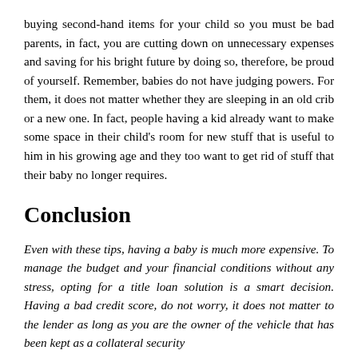buying second-hand items for your child so you must be bad parents, in fact, you are cutting down on unnecessary expenses and saving for his bright future by doing so, therefore, be proud of yourself. Remember, babies do not have judging powers. For them, it does not matter whether they are sleeping in an old crib or a new one. In fact, people having a kid already want to make some space in their child's room for new stuff that is useful to him in his growing age and they too want to get rid of stuff that their baby no longer requires.
Conclusion
Even with these tips, having a baby is much more expensive. To manage the budget and your financial conditions without any stress, opting for a title loan solution is a smart decision. Having a bad credit score, do not worry, it does not matter to the lender as long as you are the owner of the vehicle that has been kept as a collateral security